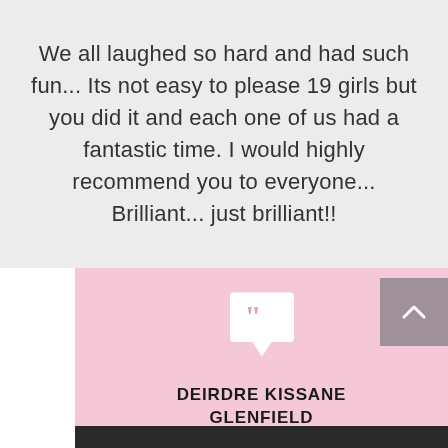We all laughed so hard and had such fun... Its not easy to please 19 girls but you did it and each one of us had a fantastic time. I would highly recommend you to everyone... Brilliant... just brilliant!!
[Figure (illustration): White speech bubble icon with pink quotation marks on a pink background]
DEIRDRE KISSANE GLENFIELD